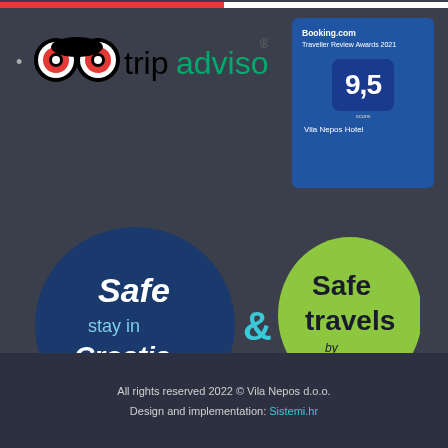[Figure (logo): TripAdvisor logo with owl icon and green text]
[Figure (infographic): Booking.com Traveller Review Awards 2021 badge with score 9.5, Vila Nepos Hotel]
[Figure (infographic): Safe stay in Croatia dark blue circle logo with QR code, ampersand, and Safe travels green circle logo with World Travel Tourism Council and Croatia Full of Life logos]
All rights reserved 2022 © Vila Nepos d.o.o.
Design and implementation: Sistemi.hr